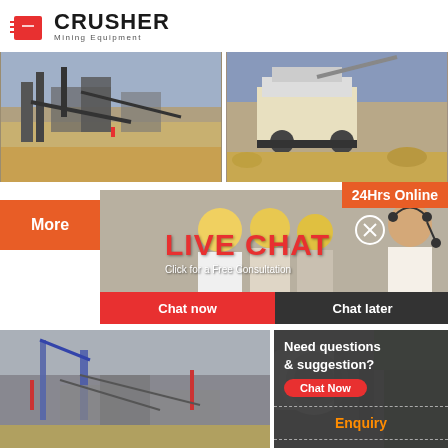[Figure (logo): CRUSHER Mining Equipment logo with red shopping bag icon and bold text]
[Figure (photo): Mining crusher equipment in a quarry - left top photo]
[Figure (photo): Mobile crusher equipment on a construction/mining site - right top photo]
24Hrs Online
More
[Figure (photo): Live chat promotional banner with workers in hard hats and a customer support representative]
LIVE CHAT
Click for a Free Consultation
Chat now
Chat later
[Figure (photo): Mining equipment/crushers at an industrial facility - bottom left photo]
[Figure (photo): Industrial machinery close-up - bottom right photo]
Need questions & suggestion?
Chat Now
Enquiry
limingjlmofen@sina.com